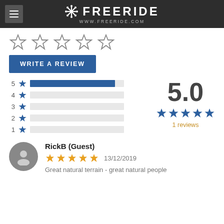FREERIDE www.freeride.com
[Figure (other): Five outline star icons in a row (rating stars, unfilled/outline style)]
WRITE A REVIEW
[Figure (bar-chart): Rating distribution]
5.0
[Figure (other): Five filled blue stars (5-star rating)]
1 reviews
RickB (Guest)
[Figure (other): Five filled gold/orange stars rating]
13/12/2019
Great natural terrain - great natural people